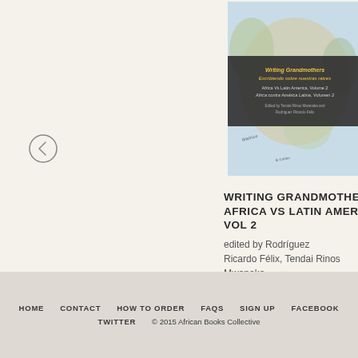[Figure (photo): Book cover of 'Writing Grandmothers: Escribiendo sobre nuestras raices, Africa Vs Latin America, Volume 2' edited by Tendai Rinos Mwanaka and Rodriguez Ricardo Felix]
WRITING GRANDMOTHERS: AFRICA VS LATIN AMERICA VOL 2
edited by Rodríguez Ricardo Félix, Tendai Rinos Mwanaka
Mwanaka Media and Publishing, Zimbabwe
HOME   CONTACT   HOW TO ORDER   FAQS   SIGN UP   FACEBOOK   TWITTER   © 2015 African Books Collective